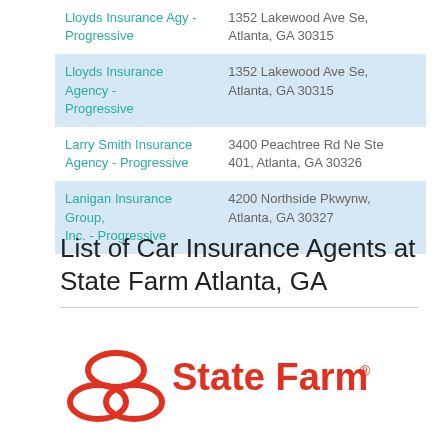| Agent | Address |
| --- | --- |
| Lloyds Insurance Agy - Progressive | 1352 Lakewood Ave Se, Atlanta, GA 30315 |
| Lloyds Insurance Agency - Progressive | 1352 Lakewood Ave Se, Atlanta, GA 30315 |
| Larry Smith Insurance Agency - Progressive | 3400 Peachtree Rd Ne Ste 401, Atlanta, GA 30326 |
| Lanigan Insurance Group, Inc. - Progressive | 4200 Northside Pkwynw, Atlanta, GA 30327 |
List of Car Insurance Agents at State Farm Atlanta, GA
[Figure (logo): State Farm logo with three ovals and red 'State Farm' text]